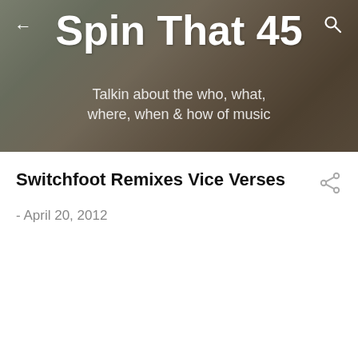Spin That 45
Talkin about the who, what, where, when & how of music
Switchfoot Remixes Vice Verses
- April 20, 2012